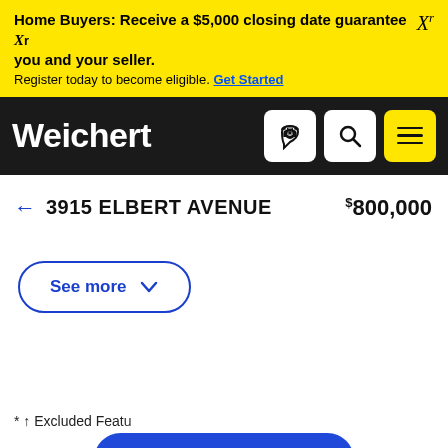Home Buyers: Receive a $5,000 closing date guarantee Xr you and your seller. Register today to become eligible. Get Started
Weichert
← 3915 ELBERT AVENUE   $800,000
See more ∨
* ↑ Excluded Feat
Get more info